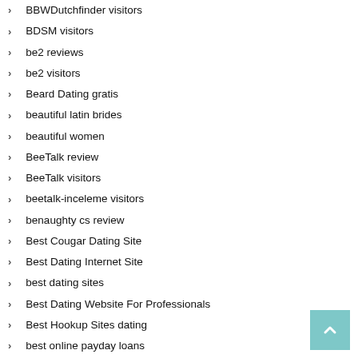BBWDutchfinder visitors
BDSM visitors
be2 reviews
be2 visitors
Beard Dating gratis
beautiful latin brides
beautiful women
BeeTalk review
BeeTalk visitors
beetalk-inceleme visitors
benaughty cs review
Best Cougar Dating Site
Best Dating Internet Site
best dating sites
Best Dating Website For Professionals
Best Hookup Sites dating
best online payday loans